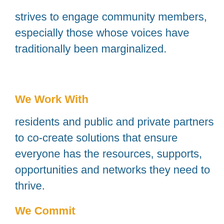strives to engage community members, especially those whose voices have traditionally been marginalized.
We Work With
residents and public and private partners to co-create solutions that ensure everyone has the resources, supports, opportunities and networks they need to thrive.
We Commit